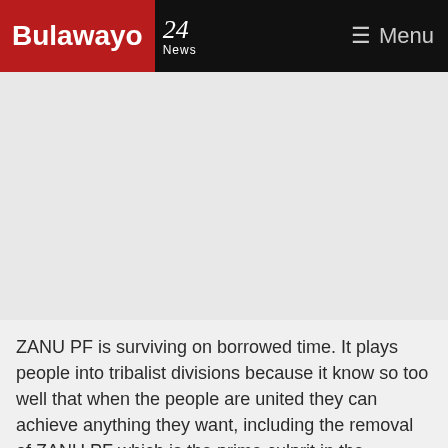Bulawayo 24 News — Menu
[Figure (other): Advertisement or placeholder image area (gray background)]
ZANU PF is surviving on borrowed time. It plays people into tribalist divisions because it know so too well that when the people are united they can achieve anything they want, including the removal of ZANU PF which is the prime culprit in the deteriorating living conditions of the citizens of Zimbabwe.